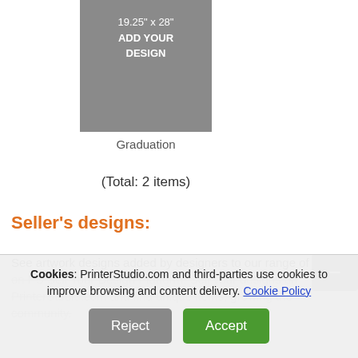[Figure (illustration): Gray square product placeholder with white text reading '19.25" x 28"' and 'ADD YOUR DESIGN' centered on a textured gray background]
Graduation
(Total: 2 items)
Seller's designs:
See artwork designs added by designers to our range of items on PS Sell Your Design Platform. Sell your designs on PrinterStudio.com and find unique items, growing the community.
Cookies: PrinterStudio.com and third-parties use cookies to improve browsing and content delivery. Cookie Policy
Reject  Accept